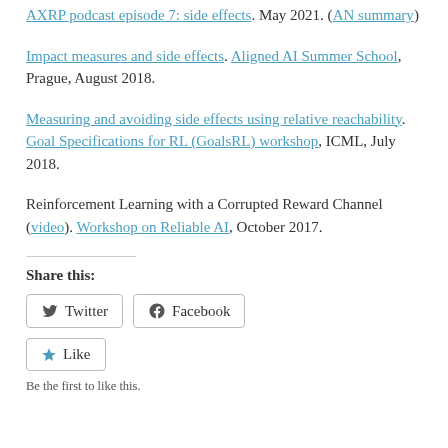AXRP podcast episode 7: side effects. May 2021. (AN summary)
Impact measures and side effects. Aligned AI Summer School, Prague, August 2018.
Measuring and avoiding side effects using relative reachability. Goal Specifications for RL (GoalsRL) workshop, ICML, July 2018.
Reinforcement Learning with a Corrupted Reward Channel (video). Workshop on Reliable AI, October 2017.
Share this:
Twitter  Facebook
Like
Be the first to like this.